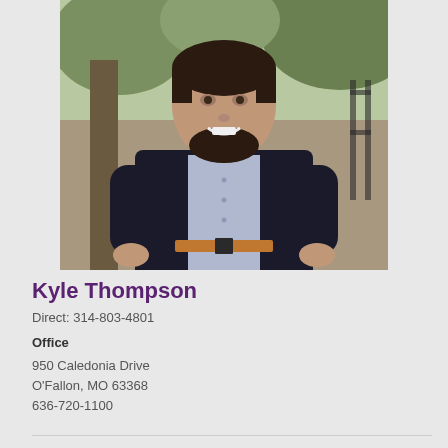[Figure (photo): Professional headshot of Kyle Thompson, a man with dark hair and beard wearing a dark blazer over a light purple button-up shirt with a brown belt, photographed outdoors against a backdrop of trees and iron fencing]
Kyle Thompson
Direct: 314-803-4801
Office
950 Caledonia Drive
O'Fallon, MO 63368
636-720-1100